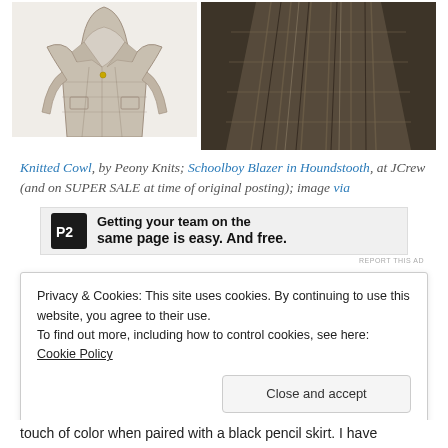[Figure (photo): Two product photos side by side: left is a plaid houndstooth schoolboy blazer on a white background; right is a plaid/houndstooth skirt on a dark background.]
Knitted Cowl, by Peony Knits; Schoolboy Blazer in Houndstooth, at JCrew (and on SUPER SALE at time of original posting); image via
[Figure (screenshot): P2 advertisement banner: logo with 'P2' text and tagline 'Getting your team on the same page is easy. And free.' with 'REPORT THIS AD' label.]
Privacy & Cookies: This site uses cookies. By continuing to use this website, you agree to their use.
To find out more, including how to control cookies, see here: Cookie Policy
touch of color when paired with a black pencil skirt. I have